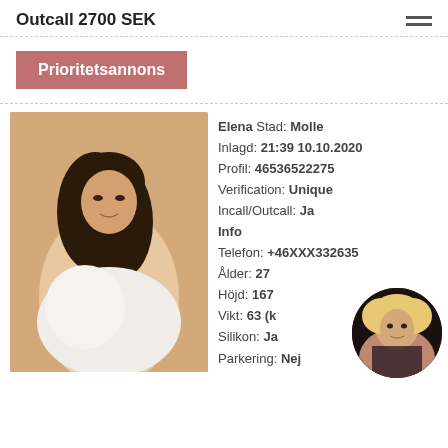Outcall 2700 SEK
Prioritetsannons
[Figure (photo): Young brunette woman with long wavy hair, partially covered, posed on a bed]
Elena Stad: Molle
Inlagd: 21:39 10.10.2020
Profil: 46536522275
Verification: Unique
Incall/Outcall: Ja
Info
Telefon: +46XXX332635
Ålder: 27
Höjd: 167
Vikt: 63 (k
Silikon: Ja
Parkering: Nej
[Figure (photo): Blonde woman with curly hair wearing black lingerie, circular thumbnail]